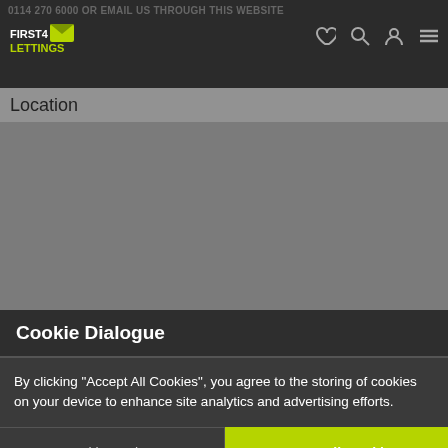0114 270 6000 OR EMAIL US THROUGH THIS WEBSITE
[Figure (logo): First4Lettings logo - white text with green envelope icon on dark background]
Location
[Figure (map): Grey map area placeholder]
Cookie Dialogue
By clicking “Accept All Cookies”, you agree to the storing of cookies on your device to enhance site analytics and advertising efforts.
Cookie Settings
Accept All Cookies
cester, LE2